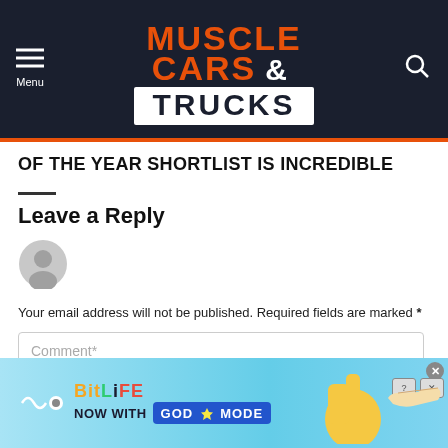[Figure (logo): Muscle Cars & Trucks website header logo with menu icon and search icon on dark navy background]
OF THE YEAR SHORTLIST IS INCREDIBLE
Leave a Reply
[Figure (illustration): Generic grey user avatar circle icon]
Your email address will not be published. Required fields are marked *
[Figure (screenshot): Comment text input field with placeholder text 'Comment*']
[Figure (infographic): BitLife advertisement banner: 'NOW WITH GOD MODE' on light blue background with cartoon hand and thumbs up]